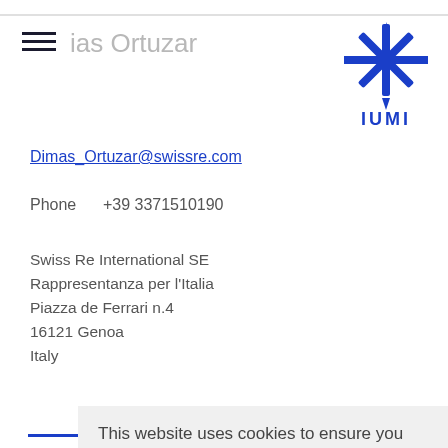Dimas Ortuzar
[Figure (logo): IUMI star/snowflake logo in dark blue with IUMI text below]
Dimas_Ortuzar@swissre.com
Phone +39 3371510190
Swiss Re International SE
Rappresentanza per l'Italia
Piazza de Ferrari n.4
16121 Genoa
Italy
Jan Hu... (partially visible)
Exe... (partially visible)
jan-hugo...@gard.no (partially visible)
Pho... (partially visible)
Garc... (partially visible)
Dro... Colmsgate 8 (partially visible)
P.O. Box 1271 Vika (partially visible)
This website uses cookies to ensure you get the best experience on our website.
Learn more
Got it!